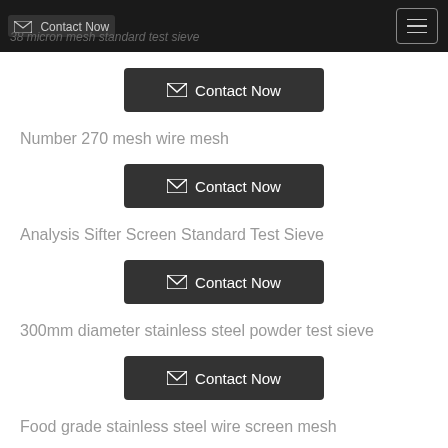38 micron mesh standard test sieve
Number 270 mesh wire mesh
Analysis Sifter Screen Standard Test Sieve
300mm diameter stainless steel powder test sieve
Food grade stainless steel wire screen mesh